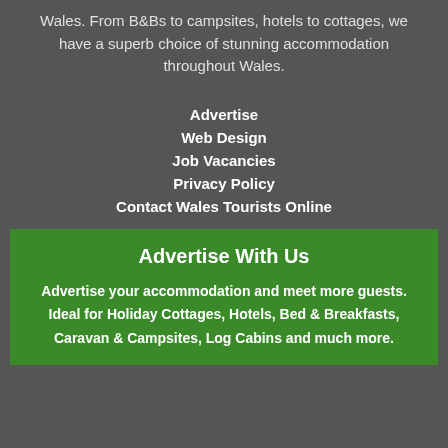Wales. From B&Bs to campsites, hotels to cottages, we have a superb choice of stunning accommodation throughout Wales.
Advertise
Web Design
Job Vacancies
Privacy Policy
Contact Wales Tourists Online
Advertise With Us
Advertise your accommodation and meet more guests. Ideal for Holiday Cottages, Hotels, Bed & Breakfasts, Caravan & Campsites, Log Cabins and much more.